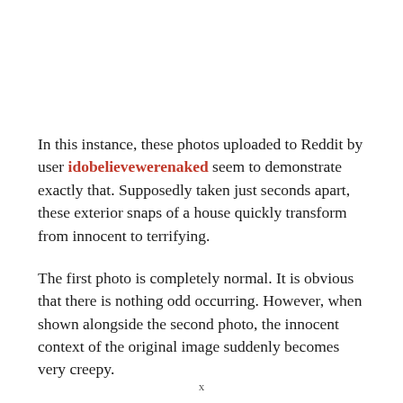In this instance, these photos uploaded to Reddit by user idobelievewerenaked seem to demonstrate exactly that. Supposedly taken just seconds apart, these exterior snaps of a house quickly transform from innocent to terrifying.
The first photo is completely normal. It is obvious that there is nothing odd occurring. However, when shown alongside the second photo, the innocent context of the original image suddenly becomes very creepy.
x